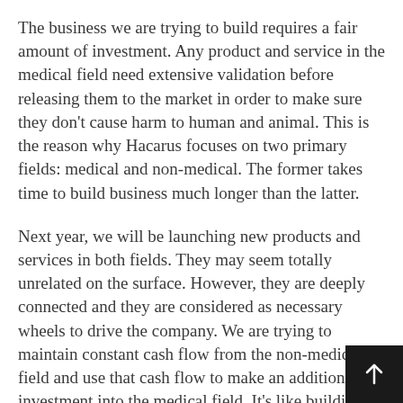The business we are trying to build requires a fair amount of investment. Any product and service in the medical field need extensive validation before releasing them to the market in order to make sure they don't cause harm to human and animal. This is the reason why Hacarus focuses on two primary fields: medical and non-medical. The former takes time to build business much longer than the latter.
Next year, we will be launching new products and services in both fields. They may seem totally unrelated on the surface. However, they are deeply connected and they are considered as necessary wheels to drive the company. We are trying to maintain constant cash flow from the non-medical field and use that cash flow to make an additional investment into the medical field. It's like building a rocket launcher while building a rocket itself.